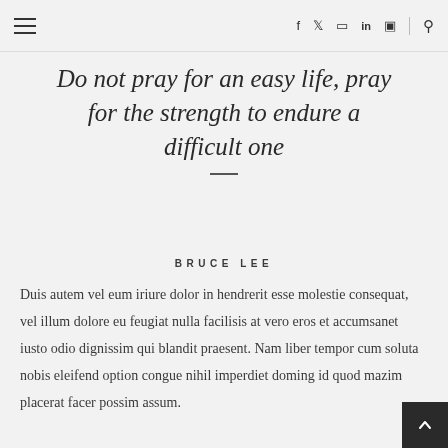Navigation bar with hamburger menu and social icons: f, twitter, instagram, linkedin, flickr, search
Do not pray for an easy life, pray for the strength to endure a difficult one
BRUCE LEE
Duis autem vel eum iriure dolor in hendrerit esse molestie consequat, vel illum dolore eu feugiat nulla facilisis at vero eros et accumsanet iusto odio dignissim qui blandit praesent. Nam liber tempor cum soluta nobis eleifend option congue nihil imperdiet doming id quod mazim placerat facer possim assum.